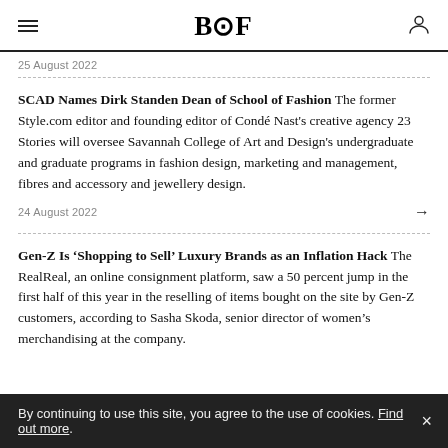BOF
25 August 2022
SCAD Names Dirk Standen Dean of School of Fashion The former Style.com editor and founding editor of Condé Nast's creative agency 23 Stories will oversee Savannah College of Art and Design's undergraduate and graduate programs in fashion design, marketing and management, fibres and accessory and jewellery design.
24 August 2022
Gen-Z Is ‘Shopping to Sell’ Luxury Brands as an Inflation Hack The RealReal, an online consignment platform, saw a 50 percent jump in the first half of this year in the reselling of items bought on the site by Gen-Z customers, according to Sasha Skoda, senior director of women's merchandising at the company.
By continuing to use this site, you agree to the use of cookies. Find out more.